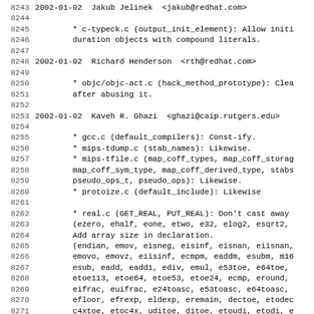8243 2002-01-02  Jakub Jelinek  <jakub@redhat.com>
8244
8245         * c-typeck.c (output_init_element): Allow initi
8246         duration objects with compound literals.
8247
8248 2002-01-02  Richard Henderson  <rth@redhat.com>
8249
8250         * objc/objc-act.c (hack_method_prototype): Clea
8251         after abusing it.
8252
8253 2002-01-02  Kaveh R. Ghazi  <ghazi@caip.rutgers.edu>
8254
8255         * gcc.c (default_compilers): Const-ify.
8256         * mips-tdump.c (stab_names): Likewise.
8257         * mips-tfile.c (map_coff_types, map_coff_storag
8258         map_coff_sym_type, map_coff_derived_type, stabs
8259         pseudo_ops_t, pseudo_ops): Likewise.
8260         * protoize.c (default_include): Likewise
8261
8262         * real.c (GET_REAL, PUT_REAL): Don't cast away
8263         (ezero, ehalf, eone, etwo, e32, elog2, esqrt2,
8264         Add array size in declaration.
8265         (endian, emov, eisneg, eisinf, eisnan, eiisnan,
8266         emovo, emovz, eiisinf, ecmpm, eaddm, esubm, m16
8267         esub, eadd, eadd1, ediv, emul, e53toe, e64toe,
8268         etoe113, etoe64, etoe53, etoe24, ecmp, eround,
8269         eifrac, euifrac, e24toasc, e53toasc, e64toasc,
8270         efloor, efrexp, eldexp, eremain, dectoe, etodec
8271         c4xtoe, etoc4x, uditoe, ditoe, etoudi, etodi, e
8272         emtens, make_nan): Const-ify.
8273         (TFbignan, TFlittlenan, XFbignan, XFlittlenan,
8274         DFlittlenan, SFbignan, SFlittlenan): Make stati